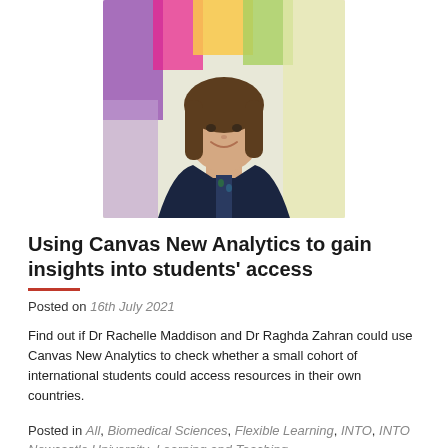[Figure (photo): Portrait photo of a smiling woman with shoulder-length brown hair wearing a dark navy cardigan, in front of a colorful classroom background with purple, yellow, pink and green decorations.]
Using Canvas New Analytics to gain insights into students' access
Posted on 16th July 2021
Find out if Dr Rachelle Maddison and Dr Raghda Zahran could use Canvas New Analytics to check whether a small cohort of international students could access resources in their own countries.
Posted in All, Biomedical Sciences, Flexible Learning, INTO, INTO Newcastle University, Learning and Teaching